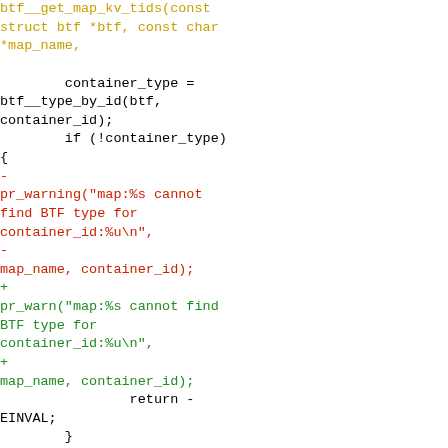[Figure (other): Source code diff snippet showing C code with removed lines (red) and added lines (green), and unchanged code in black and gold/orange. The diff replaces pr_warning with pr_warn calls and shows surrounding context code for a BTF map lookup function.]